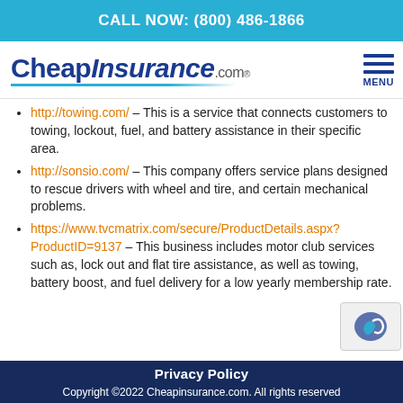CALL NOW: (800) 486-1866
[Figure (logo): CheapInsurance.com logo with blue text and underline, and hamburger MENU icon on the right]
http://towing.com/ – This is a service that connects customers to towing, lockout, fuel, and battery assistance in their specific area.
http://sonsio.com/ – This company offers service plans designed to rescue drivers with wheel and tire, and certain mechanical problems.
https://www.tvcmatrix.com/secure/ProductDetails.aspx?ProductID=9137 – This business includes motor club services such as, lock out and flat tire assistance, as well as towing, battery boost, and fuel delivery for a low yearly membership rate.
Privacy Policy
Copyright ©2022 Cheapinsurance.com. All rights reserved